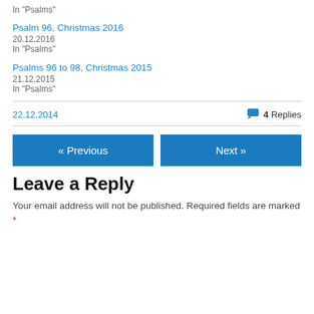In "Psalms"
Psalm 96, Christmas 2016
20.12.2016
In "Psalms"
Psalms 96 to 98, Christmas 2015
21.12.2015
In "Psalms"
22.12.2014
4 Replies
« Previous
Next »
Leave a Reply
Your email address will not be published. Required fields are marked *